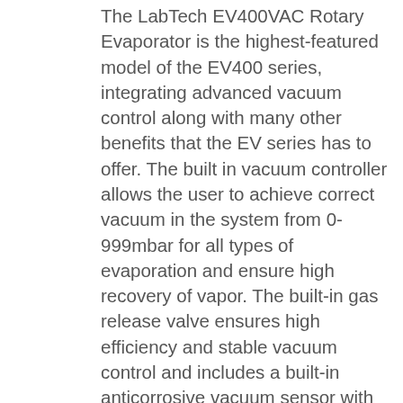The LabTech EV400VAC Rotary Evaporator is the highest-featured model of the EV400 series, integrating advanced vacuum control along with many other benefits that the EV series has to offer. The built in vacuum controller allows the user to achieve correct vacuum in the system from 0-999mbar for all types of evaporation and ensure high recovery of vapor. The built-in gas release valve ensures high efficiency and stable vacuum control and includes a built-in anticorrosive vacuum sensor with high precision (allows for vacuum control precision of ±1mbar) .